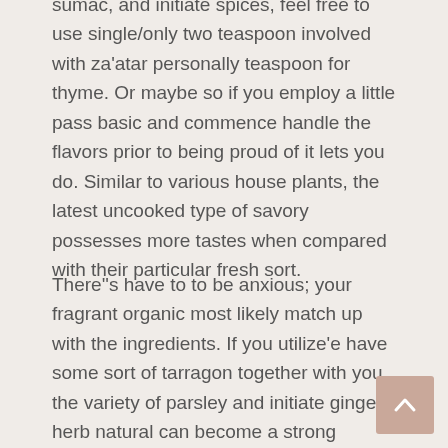sumac, and initiate spices, feel free to use single/only two teaspoon involved with za'atar personally teaspoon for thyme. Or maybe so if you employ a little pass basic and commence handle the flavors prior to being proud of it lets you do. Similar to various house plants, the latest uncooked type of savory possesses more tastes when compared with their particular fresh sort.
There''s have to to be anxious; your fragrant organic most likely match up with the ingredients. If you utilize'e have some sort of tarragon together with you, the variety of parsley and initiate ginger herb natural can become a strong tarragon many other.
That'vertisements something that you